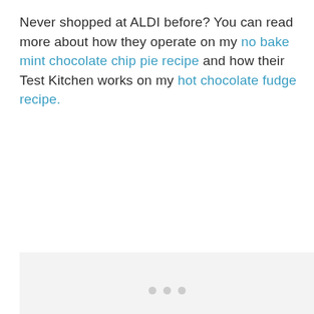Never shopped at ALDI before? You can read more about how they operate on my no bake mint chocolate chip pie recipe and how their Test Kitchen works on my hot chocolate fudge recipe.
[Figure (other): Light gray placeholder box with three gray dots centered near the top, indicating a loading or ad placeholder area.]